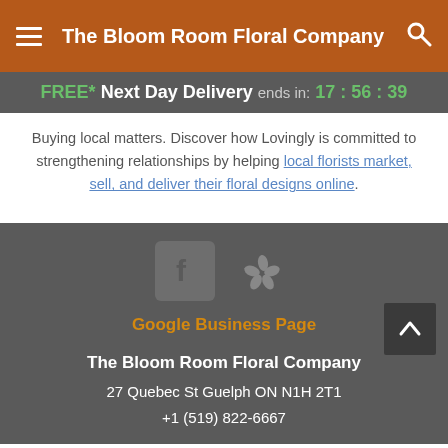The Bloom Room Floral Company
FREE* Next Day Delivery ends in: 17 : 56 : 39
Buying local matters. Discover how Lovingly is committed to strengthening relationships by helping local florists market, sell, and deliver their floral designs online.
[Figure (logo): Facebook icon square and Yelp icon]
Google Business Page
The Bloom Room Floral Company
27 Quebec St Guelph ON N1H 2T1
+1 (519) 822-6667